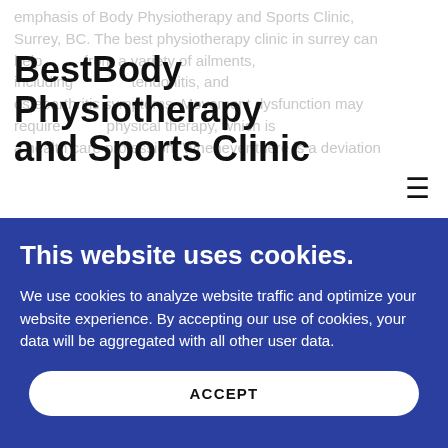emphasis of Body Physiotherapy and Sports Clinic, Surrey, BC. The best physiotherapy clinic in surrey can help suffering from a variety of ailments, including tendonitis, and osteoarthritis symptoms. Movement dysfunction may require physical therapy, which is a health care profession. Whenever there is a deviation from the typical kinetics of a human body, this is referred to as a movement dysfunction. Graduates of an authorized physiotherapy school are
BestBody Physiotherapy and Sports Clinic
from the typical kinetics of a human body, this is referred to as a movement dysfunction. Graduates of an authorized physiotherapy school are
This website uses cookies.
We use cookies to analyze website traffic and optimize your website experience. By accepting our use of cookies, your data will be aggregated with all other user data.
ACCEPT